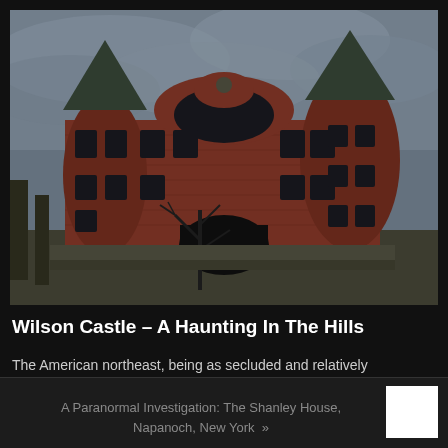[Figure (photo): Abandoned red-brick Victorian castle-style mansion with twin turrets, arched windows, bare trees, and overcast sky — Wilson Castle]
Wilson Castle – A Haunting In The Hills
The American northeast, being as secluded and relatively uninhabited as it is, has left its…
A Paranormal Investigation: The Shanley House, Napanoch, New York »